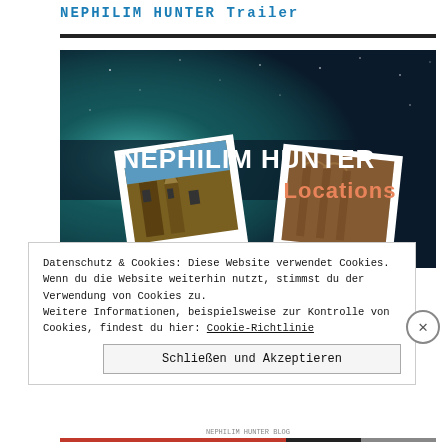NEPHILIM HUNTER Trailer
[Figure (screenshot): Screenshot of a webpage showing a video thumbnail/banner for 'NEPHILIM HUNTER Locations'. The image has a dark starry background with teal/cyan glow on the left. Two Polaroid-style photos of gothic cathedral architecture are overlaid. White bold text reads 'NEPHILIM HUNTER' and orange/salmon bold text reads 'Locations'.]
Datenschutz & Cookies: Diese Website verwendet Cookies. Wenn du die Website weiterhin nutzt, stimmst du der Verwendung von Cookies zu.
Weitere Informationen, beispielsweise zur Kontrolle von Cookies, findest du hier: Cookie-Richtlinie
Schließen und Akzeptieren